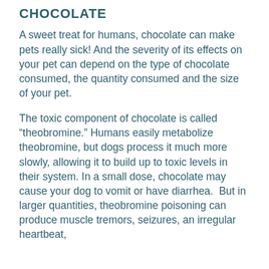CHOCOLATE
A sweet treat for humans, chocolate can make pets really sick! And the severity of its effects on your pet can depend on the type of chocolate consumed, the quantity consumed and the size of your pet.
The toxic component of chocolate is called “theobromine.” Humans easily metabolize theobromine, but dogs process it much more slowly, allowing it to build up to toxic levels in their system. In a small dose, chocolate may cause your dog to vomit or have diarrhea.  But in larger quantities, theobromine poisoning can produce muscle tremors, seizures, an irregular heartbeat,